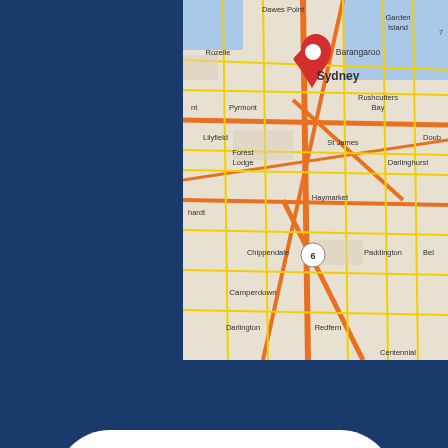[Figure (map): Google Maps screenshot showing central Sydney, Australia, with a red location pin dropped near the CBD. Visible suburbs include Rozelle, Lilyfield, Pyrmont, Forest Lodge, Camperdown, Darlington, Haymarket, St James, Chippendale, Redfern, Dawes Point, Barangaroo, Garden Island, Rushcutters Bay, Darlinghurst, Paddington, Centennial. Major roads shown in orange.]
[Figure (logo): Telegram app icon: white rounded-rectangle background with a cyan/light-blue circle containing a white paper airplane logo pointing to the upper right.]
[Figure (logo): WhatsApp app icon (partially visible at bottom): white rounded-rectangle background with a green circle containing a white phone/chat icon.]
[Figure (logo): Circular emblem/badge in bottom-right corner: blue and gold border with a white cross and radiating lines on a dark blue background, surrounded by text around the perimeter.]